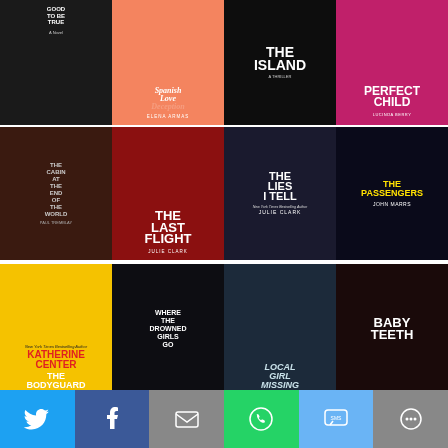[Figure (illustration): Grid of 12 book covers arranged in 3 rows of 4: Row 1: Too Good To Be True, Spanish Love Deception by Elena Armas, The Island (thriller), Perfect Child by Lucinda Berry. Row 2: The Cabin at the End of the World by Paul Tremblay, The Last Flight by Julie Clark, The Lies I Tell by Julie Clark, The Passengers by John Marrs. Row 3: The Bodyguard by Katherine Center, Where the Drowned Girls Go, Local Girl Missing, Baby Teeth.]
[Figure (infographic): Social sharing bar with 6 buttons: Twitter (blue), Facebook (dark blue), Email/Mail (gray), WhatsApp (green), SMS (light blue), More (gray)]